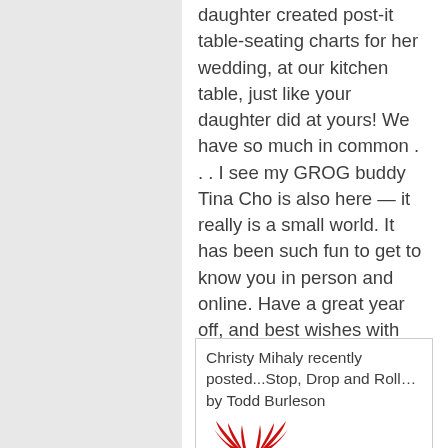daughter created post-it table-seating charts for her wedding, at our kitchen table, just like your daughter did at yours! We have so much in common . . . I see my GROG buddy Tina Cho is also here — it really is a small world. It has been such fun to get to know you in person and online. Have a great year off, and best wishes with your writing!
Christy Mihaly recently posted...Stop, Drop and Roll… by Todd Burleson
[Figure (illustration): Red stylized wings/bird logo icon]